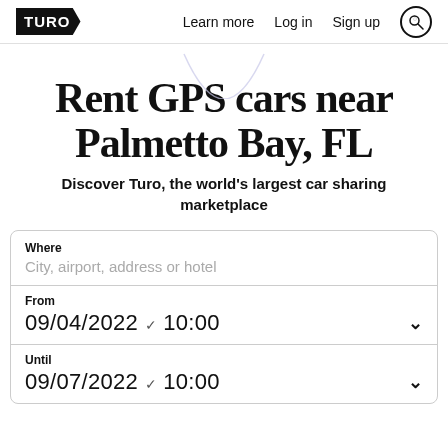TURO | Learn more  Log in  Sign up
Rent GPS cars near Palmetto Bay, FL
Discover Turo, the world's largest car sharing marketplace
Where
City, airport, address or hotel
From
09/04/2022  10:00
Until
09/07/2022  10:00